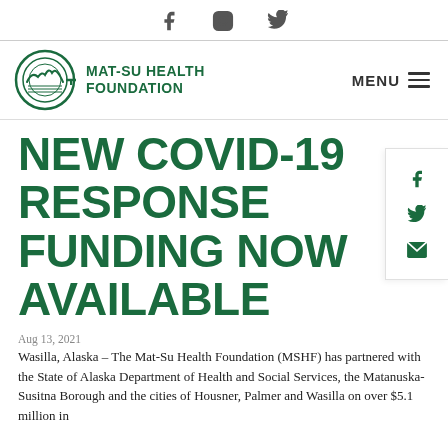Social media icons: Facebook, Instagram, Twitter
[Figure (logo): Mat-Su Health Foundation logo with circular green emblem and text]
NEW COVID-19 RESPONSE FUNDING NOW AVAILABLE
Aug 13, 2021
Wasilla, Alaska – The Mat-Su Health Foundation (MSHF) has partnered with the State of Alaska Department of Health and Social Services, the Matanuska-Susitna Borough and the cities of Housner, Palmer and Wasilla on over $5.1 million in...